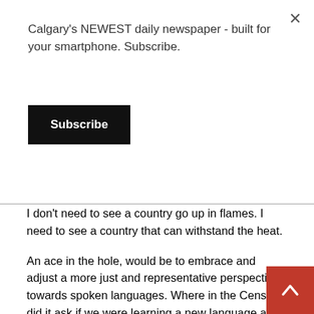Calgary's NEWEST daily newspaper - built for your smartphone. Subscribe.
Subscribe
I don't need to see a country go up in flames. I need to see a country that can withstand the heat.
An ace in the hole, would be to embrace and adjust a more just and representative perspective towards spoken languages. Where in the Census did it ask if we were learning a new language and which one. Nowhere. Are there biases? Yes there are. Get rid of those. As is, there is and has always been exclusion in terms of allotted value and merit. What are the official languages? Why? We should be BOASTING of the diversity that is and has always been. Naming and recognizing them all.
There should be no competition between our races/ identities.